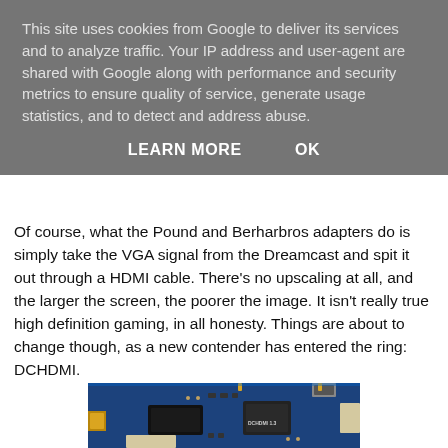This site uses cookies from Google to deliver its services and to analyze traffic. Your IP address and user-agent are shared with Google along with performance and security metrics to ensure quality of service, generate usage statistics, and to detect and address abuse.
LEARN MORE    OK
Of course, what the Pound and Berharbros adapters do is simply take the VGA signal from the Dreamcast and spit it out through a HDMI cable. There's no upscaling at all, and the larger the screen, the poorer the image. It isn't really true high definition gaming, in all honesty. Things are about to change though, as a new contender has entered the ring: DCHDMI.
[Figure (photo): Close-up photo of a blue circuit board (DCHDMI 1.3) with various electronic components including chips, capacitors, and connectors against a blue background.]